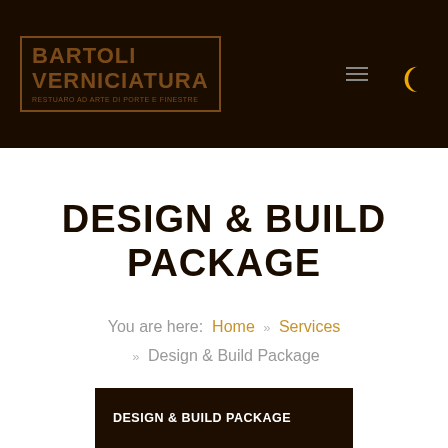[Figure (logo): Bartoli Verniciatura logo in a bordered box with tagline 'Restuaro ad Arte di Porte e Finestre', on a dark brown header background with hamburger menu icon and yellow moon icon]
DESIGN & BUILD PACKAGE
You are here: Home » Services » Design & Build Package
DESIGN & BUILD PACKAGE